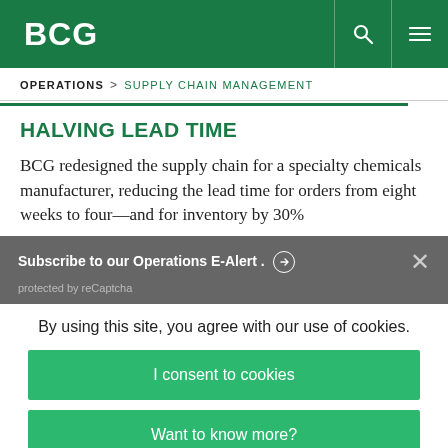BCG
OPERATIONS  >  SUPPLY CHAIN MANAGEMENT
HALVING LEAD TIME
BCG redesigned the supply chain for a specialty chemicals manufacturer, reducing the lead time for orders from eight weeks to four—and for inventory by 30%
Subscribe to our Operations E-Alert. → protected by reCaptcha
By using this site, you agree with our use of cookies.
I consent to cookies
Want to know more?
Read our Cookie Policy